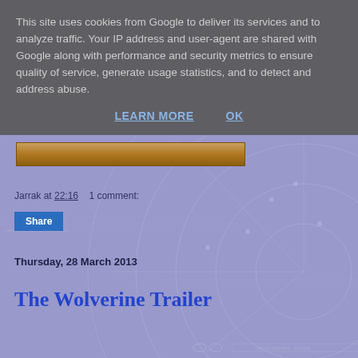[Figure (screenshot): Webpage background with lavender/periwinkle blueprint radar graphic overlay]
This site uses cookies from Google to deliver its services and to analyze traffic. Your IP address and user-agent are shared with Google along with performance and security metrics to ensure quality of service, generate usage statistics, and to detect and address abuse.
LEARN MORE   OK
Jarrak at 22:16     1 comment:
Share
Thursday, 28 March 2013
The Wolverine Trailer